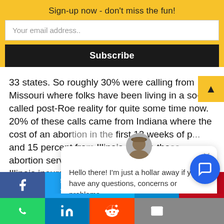Sign-up now - don't miss the fun!
Your email address..
Subscribe
33 states. So roughly 30% were calling from Missouri where folks have been living in a so-called post-Roe reality for quite some time now. 20% of these calls came from Indiana where the cost of an abortion in the first 12 weeks of p... and 15 percent fro... Illinois, where tho... abortion services a... posits that all private Illinois insurance must cover a... people don't fit... urance catego... really high
Hello there! I'm just a hollar away if you have any questions, concerns or problems.